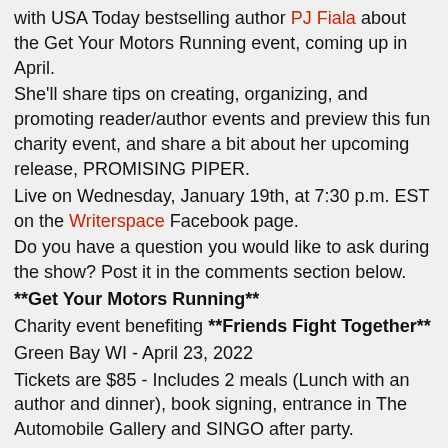with USA Today bestselling author PJ Fiala about the Get Your Motors Running event, coming up in April. She'll share tips on creating, organizing, and promoting reader/author events and preview this fun charity event, and share a bit about her upcoming release, PROMISING PIPER. Live on Wednesday, January 19th, at 7:30 p.m. EST on the Writerspace Facebook page. Do you have a question you would like to ask during the show? Post it in the comments section below. **Get Your Motors Running** Charity event benefiting **Friends Fight Together** Green Bay WI - April 23, 2022 Tickets are $85 - Includes 2 meals (Lunch with an author and dinner), book signing, entrance in The Automobile Gallery and SINGO after party. Guest Tickets - $75 - includes 2 meals, trip to Doc's Harley Davidson, entrance in The Automobile Gallery and Singo afterparty.